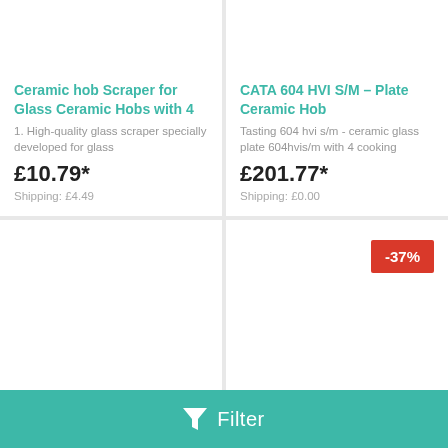Ceramic hob Scraper for Glass Ceramic Hobs with 4
1. High-quality glass scraper specially developed for glass
£10.79*
Shipping: £4.49
CATA 604 HVI S/M – Plate Ceramic Hob
Tasting 604 hvi s/m - ceramic glass plate 604hvis/m with 4 cooking
£201.77*
Shipping: £0.00
[Figure (other): Product image placeholder area (bottom-left card, empty)]
[Figure (other): Product image placeholder area (bottom-right card) with -37% discount badge]
Filter